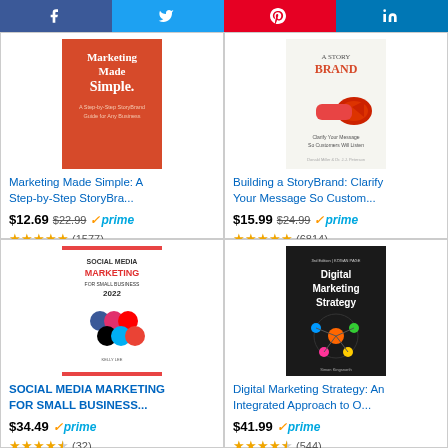[Figure (infographic): Social share buttons: Facebook, Twitter, Pinterest, LinkedIn]
[Figure (photo): Book cover: Marketing Made Simple, orange cover]
Marketing Made Simple: A Step-by-Step StoryBra...
$12.69  $22.99  prime  (1577)
[Figure (photo): Book cover: A Story Brand, white cover with megaphone]
Building a StoryBrand: Clarify Your Message So Custom...
$15.99  $24.99  prime  (6814)
[Figure (photo): Book cover: Social Media Marketing for Small Business 2022]
SOCIAL MEDIA MARKETING FOR SMALL BUSINESS...
$34.49  prime  (32)
[Figure (photo): Book cover: Digital Marketing Strategy, dark cover]
Digital Marketing Strategy: An Integrated Approach to O...
$41.99  prime  (544)